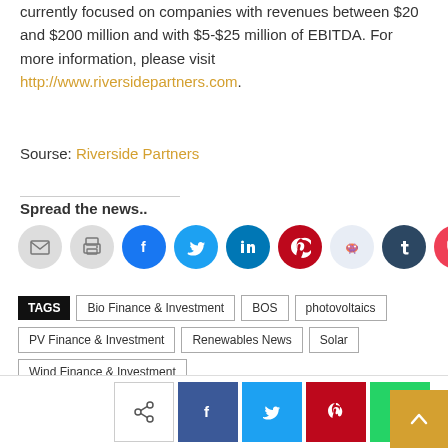currently focused on companies with revenues between $20 and $200 million and with $5-$25 million of EBITDA. For more information, please visit http://www.riversidepartners.com.
Sourse: Riverside Partners
Spread the news..
[Figure (infographic): Social media sharing icons: email (gray), print (gray), Facebook (blue), Twitter (cyan), LinkedIn (dark teal), Pinterest (red), Reddit (light blue), Tumblr (dark navy), Pocket (red)]
TAGS  Bio Finance & Investment  BOS  photovoltaics  PV Finance & Investment  Renewables News  Solar  Wind Finance & Investment
[Figure (infographic): Bottom sharing bar with share icon button (white), Facebook (dark blue), Twitter (light blue), Pinterest (red), WhatsApp (green) buttons, and a back-to-top orange button with upward arrow]